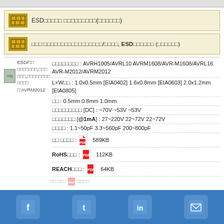ESD□□□□□ □□□□□□□□□(□□□□□□)
□□□:□□□□□□□□□□□□□□□□□/□□□□, ESD□□□□□□ (□□□□□□)
[Figure (photo): ESD product image thumbnail with Japanese text and model AVRM2012]
□□□□□□□□ : AVRH1005/AVRL10 AVRM1608/AVR-M1608/AVRL16 AVR-M2012/AVRM2012
L×W□□ : 1.0x0.5mm [EIA0402] 1.6x0.8mm [EIA0603] 2.0x1.2mm [EIA0805]
□□ : 0.5mm 0.8mm 1.0mm
□□□□□□□□□ [DC] : ~70V ~53V ~53V
□□□□□□□ [@1mA] : 27~220V 22~72V 22~72V
□□□□ : 1.1~50pF 3.3~560pF 200~800pF
□□ □□□□ :  589KB
RoHS □□□ :  112KB
REACH □□□ :  64KB
Social media links: Facebook, Twitter, LinkedIn, Email